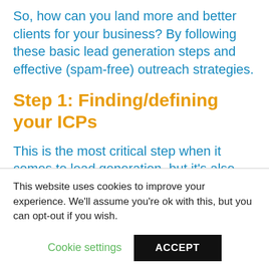So, how can you land more and better clients for your business? By following these basic lead generation steps and effective (spam-free) outreach strategies.
Step 1: Finding/defining your ICPs
This is the most critical step when it comes to lead generation, but it's also one of the most overlooked steps. Most companies
This website uses cookies to improve your experience. We'll assume you're ok with this, but you can opt-out if you wish.
Cookie settings   ACCEPT